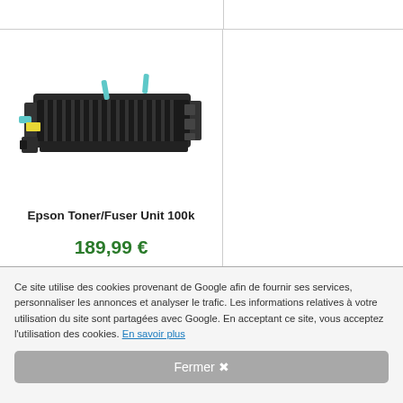[Figure (photo): Epson Toner/Fuser Unit 100k product photo showing a black printer fuser assembly with teal/green tabs on the sides]
Epson Toner/Fuser Unit 100k
189,99 €
Ce site utilise des cookies provenant de Google afin de fournir ses services, personnaliser les annonces et analyser le trafic. Les informations relatives à votre utilisation du site sont partagées avec Google. En acceptant ce site, vous acceptez l'utilisation des cookies. En savoir plus
Fermer ✖